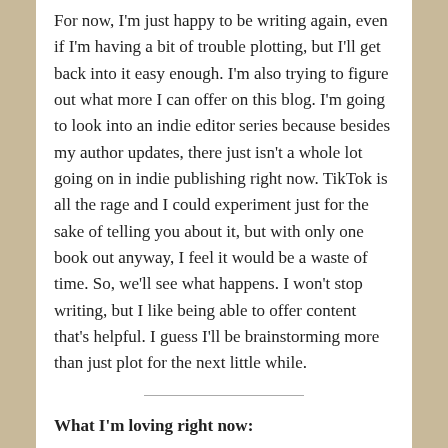For now, I'm just happy to be writing again, even if I'm having a bit of trouble plotting, but I'll get back into it easy enough. I'm also trying to figure out what more I can offer on this blog. I'm going to look into an indie editor series because besides my author updates, there just isn't a whole lot going on in indie publishing right now. TikTok is all the rage and I could experiment just for the sake of telling you about it, but with only one book out anyway, I feel it would be a waste of time. So, we'll see what happens. I won't stop writing, but I like being able to offer content that's helpful. I guess I'll be brainstorming more than just plot for the next little while.
What I'm loving right now:
When I sent a newsletter out hoping to prompt the readers who downloaded Captivated into leaving a review, I knew there was a way to create a link that would send the reader straight to the review page instead of just asking them to hunt for it on the